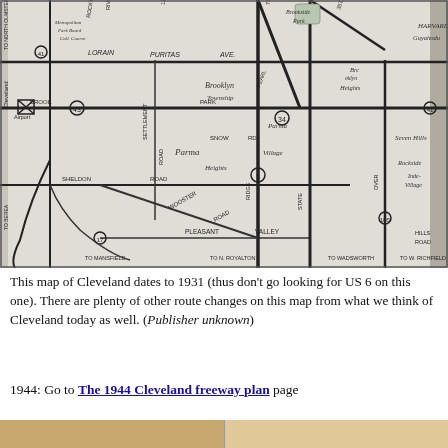[Figure (map): A 1931 road map of Cleveland, Ohio showing streets, roads, neighborhoods and municipalities including Brooklyn Township, Parma, Parma Heights, Parma Village, Seven Hills, Rockside, Harvard, Guyahoga, and route markers. Streets labeled include Lorain, Puritas Ave, Brook Park Road, Pearl Road, Snow Rd, Settlement Road, Sheldon Road, Wooster Road, Pleasant Valley, and directional labels to Mansfield, N. Royalton, Wadsworth, W. Richfield, Berea. Cleveland Airport marked with an X symbol.]
This map of Cleveland dates to 1931 (thus don't go looking for US 6 on this one). There are plenty of other route changes on this map from what we think of Cleveland today as well. (Publisher unknown)
1944: Go to The 1944 Cleveland freeway plan page
[Figure (photo): Bottom strip showing partial image, split into two sections]